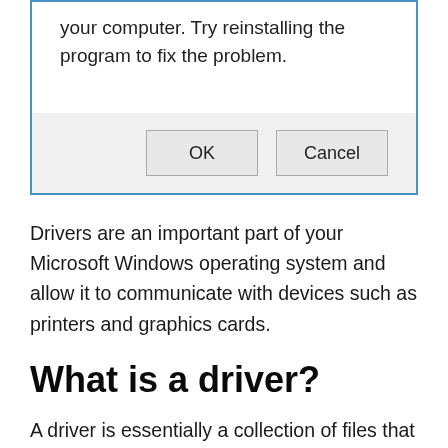[Figure (screenshot): Windows dialog box with text 'your computer. Try reinstalling the program to fix the problem.' and OK and Cancel buttons on a grey footer area, bordered in blue]
Drivers are an important part of your Microsoft Windows operating system and allow it to communicate with devices such as printers and graphics cards.
What is a driver?
A driver is essentially a collection of files that your Windows...